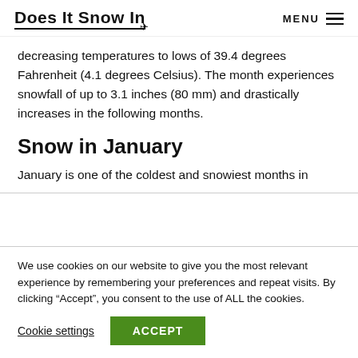Does It Snow In  MENU
decreasing temperatures to lows of 39.4 degrees Fahrenheit (4.1 degrees Celsius). The month experiences snowfall of up to 3.1 inches (80 mm) and drastically increases in the following months.
Snow in January
January is one of the coldest and snowiest months in
We use cookies on our website to give you the most relevant experience by remembering your preferences and repeat visits. By clicking “Accept”, you consent to the use of ALL the cookies.
Cookie settings  ACCEPT